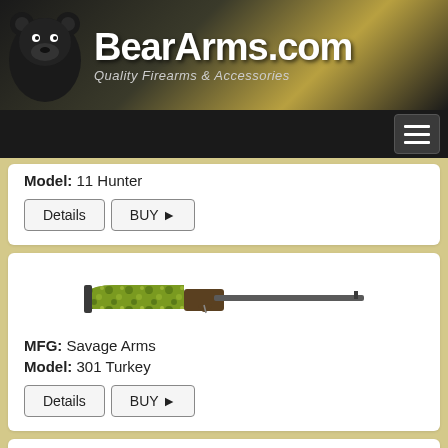BearArms.com — Quality Firearms & Accessories
Model: 11 Hunter
Details | BUY
[Figure (photo): Rifle with camouflage stock (green/yellow pattern), long barrel]
MFG: Savage Arms
Model: 301 Turkey
Details | BUY